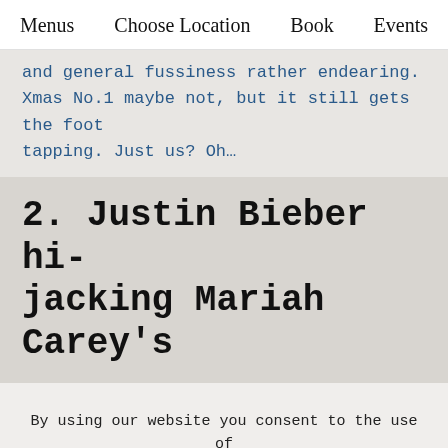Menus  Choose Location  Book  Events
and general fussiness rather endearing. Xmas No.1 maybe not, but it still gets the foot tapping. Just us? Oh…
2. Justin Bieber hijacking Mariah Carey's
By using our website you consent to the use of cookies. As mentioned in our Terms & Conditions
Accept